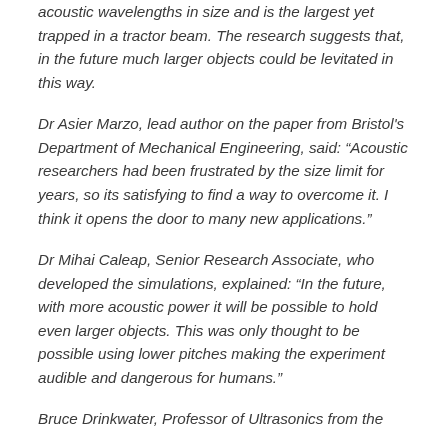acoustic wavelengths in size and is the largest yet trapped in a tractor beam. The research suggests that, in the future much larger objects could be levitated in this way.
Dr Asier Marzo, lead author on the paper from Bristol's Department of Mechanical Engineering, said: “Acoustic researchers had been frustrated by the size limit for years, so its satisfying to find a way to overcome it. I think it opens the door to many new applications.”
Dr Mihai Caleap, Senior Research Associate, who developed the simulations, explained: “In the future, with more acoustic power it will be possible to hold even larger objects. This was only thought to be possible using lower pitches making the experiment audible and dangerous for humans.”
Bruce Drinkwater, Professor of Ultrasonics from the